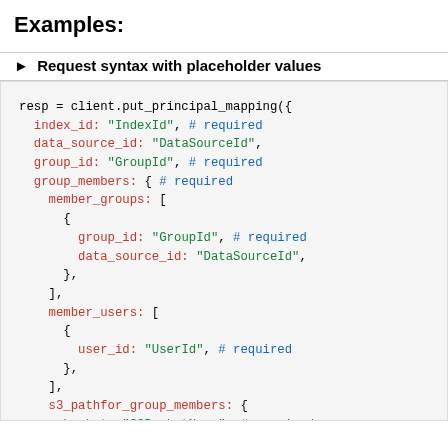Examples:
▶ Request syntax with placeholder values
[Figure (screenshot): Code block showing Ruby/SDK syntax for put_principal_mapping with placeholder values including index_id, data_source_id, group_id, group_members with member_groups and member_users, and s3_pathfor_group_members fields.]